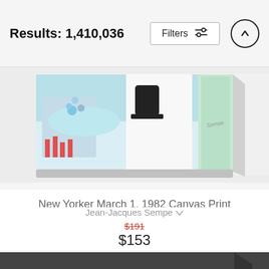Results: 1,410,036
[Figure (screenshot): Colorful canvas print of New Yorker March 1, 1982 artwork by Jean-Jacques Sempe, showing a wide panoramic whimsical illustration with cityscapes and figures]
New Yorker March 1, 1982 Canvas Print
Jean-Jacques Sempe
$191
$153
[Figure (photo): Black and white aerial photograph of New York City skyline canvas print with white script text reading 'New' visible in lower portion]